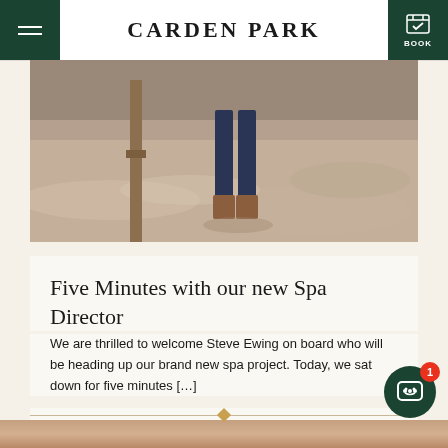CARDEN PARK
[Figure (photo): Construction site photo showing gravel/dirt ground with a person's legs and boots visible, and a wooden post/shovel]
Five Minutes with our new Spa Director
We are thrilled to welcome Steve Ewing on board who will be heading up our brand new spa project. Today, we sat down for five minutes […]
[Figure (photo): Partial photo of a person's face at the bottom of the page]